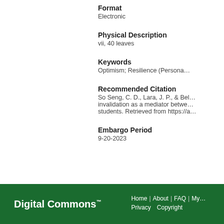Format
Electronic
Physical Description
vii, 40 leaves
Keywords
Optimism; Resilience (Persona…
Recommended Citation
So Seng, C. D., Lara, J. P., & Bel… invalidation as a mediator between… students. Retrieved from https://a…
Embargo Period
9-20-2023
Digital Commons™  Home | About | FAQ | My… Privacy  Copyright